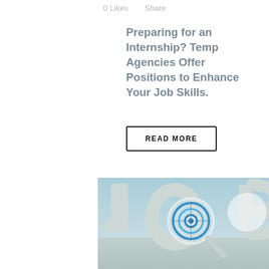0 Likes   Share
Preparing for an Internship? Temp Agencies Offer Positions to Enhance Your Job Skills.
READ MORE
[Figure (photo): 3D rendered image of the word JOB with a magnifying glass over the letter O, blue circular target visible through the magnifying glass, light blue background]